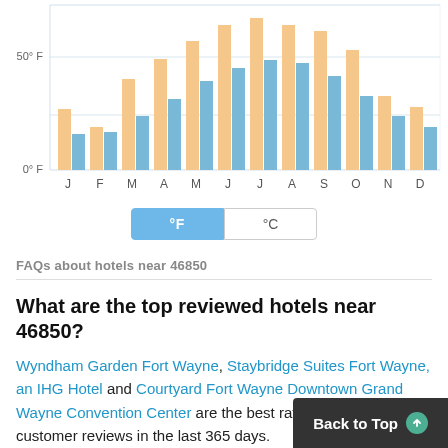[Figure (grouped-bar-chart): Monthly Temperature]
°F | °C
FAQs about hotels near 46850
What are the top reviewed hotels near 46850?
Wyndham Garden Fort Wayne, Staybridge Suites Fort Wayne, an IHG Hotel and Courtyard Fort Wayne Downtown Grand Wayne Convention Center are the best rated hotels based on customer reviews in the last 365 days.